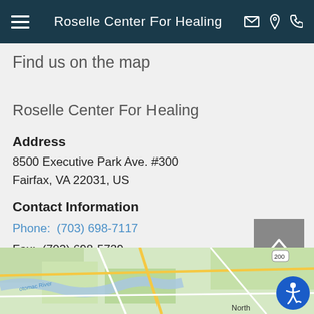Roselle Center For Healing
Find us on the map
Roselle Center For Healing
Address
8500 Executive Park Ave. #300
Fairfax, VA 22031, US
Contact Information
Phone:  (703) 698-7117
Fax:  (703) 698-5729
Email:  rosellecare@gmail.com
[Figure (map): Google Maps showing area around Roselle Center For Healing in Fairfax, VA. Shows Potomac River, Rockville label visible, road network with yellow and white roads on green terrain.]